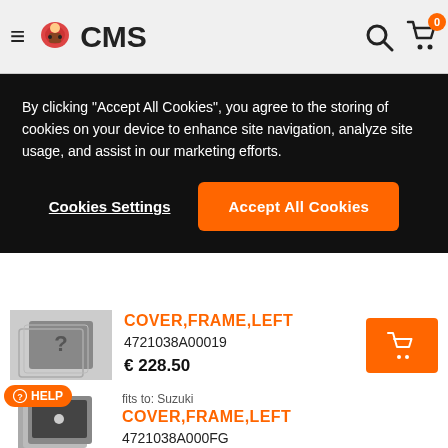CMS — navigation header with logo, search and cart
By clicking "Accept All Cookies", you agree to the storing of cookies on your device to enhance site navigation, analyze site usage, and assist in our marketing efforts.
Cookies Settings | Accept All Cookies
COVER,FRAME,LEFT
4721038A00019
€ 228.50
[Figure (photo): Product image placeholder with question mark]
fits to: Suzuki
COVER,FRAME,LEFT
4721038A000FG
[Figure (photo): Product image placeholder with HELP badge]